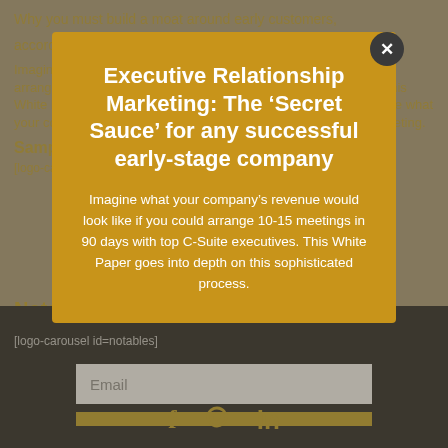Executive Relationship Marketing: The ‘Secret Sauce’ for any successful early-stage company
Imagine what your company’s revenue would look like if you could arrange 10-15 meetings in 90 days with top C-Suite executives. This White Paper goes into depth on this sophisticated process.
Why you must build a moat around early customers, according to Gembling’s CEO and co-founder
Sample Relationships
[logo-carousel id=relationships]
Notables
[logo-carousel id=notables]
Email